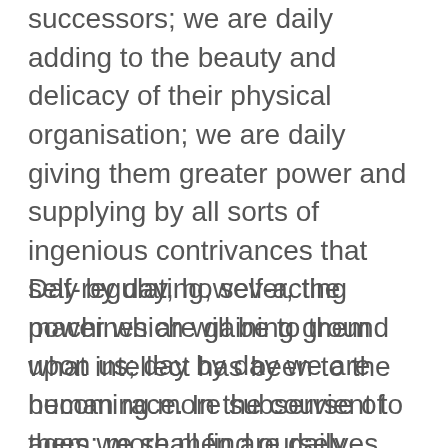successors; we are daily adding to the beauty and delicacy of their physical organisation; we are daily giving them greater power and supplying by all sorts of ingenious contrivances that self-regulating, self-acting power which will be to them what intellect has been to the human race. In the course of ages we shall find ourselves the inferior race. ...
Day by day, however, the machines are gaining ground upon us; day by day we are becoming more subservient to them; more men are daily bound down as slaves to tend them, more men are daily devoting the energies of their whole lives to the development of mechanical life. The upshot is simply a question of time, but that the time will come when the machines will hold the real supremacy